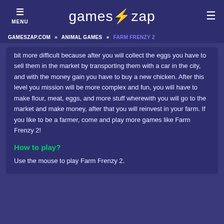MENU | gameszap | [icon]
GAMESZAP.COM » ANIMAL GAMES » FARM FRENZY 2
bit more difficult because after you will collect the eggs you have to sell them in the market by transporting them with a car in the city, and with the money gain you have to buy a new chicken. After this level you mission will be more complex and fun, you will have to make flour, meat, eggs, and more stuff wherewith you will go to the market and make money, after that you will reinvest in your farm. If you like to be a farmer, come and play more games like Farm Frenzy 2!
How to play?
Use the mouse to play Farm Frenzy 2.